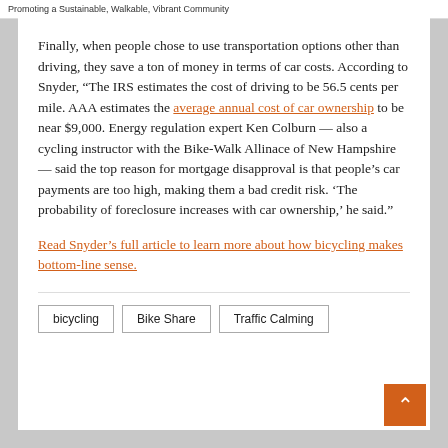Promoting a Sustainable, Walkable, Vibrant Community
Finally, when people chose to use transportation options other than driving, they save a ton of money in terms of car costs. According to Snyder, “The IRS estimates the cost of driving to be 56.5 cents per mile. AAA estimates the average annual cost of car ownership to be near $9,000. Energy regulation expert Ken Colburn — also a cycling instructor with the Bike-Walk Allinace of New Hampshire — said the top reason for mortgage disapproval is that people’s car payments are too high, making them a bad credit risk. ‘The probability of foreclosure increases with car ownership,’ he said.”
Read Snyder’s full article to learn more about how bicycling makes bottom-line sense.
bicycling
Bike Share
Traffic Calming